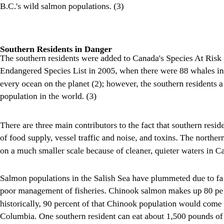B.C.'s wild salmon populations. (3)
Southern Residents in Danger
The southern residents were added to Canada's Species At Risk Endangered Species List in 2005, when there were 88 whales in every ocean on the planet (2); however, the southern residents a population in the world. (3)
There are three main contributors to the fact that southern reside of food supply, vessel traffic and noise, and toxins. The northern on a much smaller scale because of cleaner, quieter waters in Ca
Salmon populations in the Salish Sea have plummeted due to fa poor management of fisheries. Chinook salmon makes up 80 pe historically, 90 percent of that Chinook population would come Columbia. One southern resident can eat about 1,500 pounds of calorie requirement, which is 10 percent of the body weight of a
The southern residents are currently starving, and the populatio